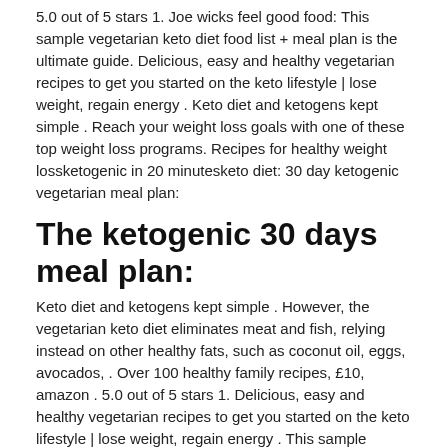5.0 out of 5 stars 1. Joe wicks feel good food: This sample vegetarian keto diet food list + meal plan is the ultimate guide. Delicious, easy and healthy vegetarian recipes to get you started on the keto lifestyle | lose weight, regain energy . Keto diet and ketogens kept simple . Reach your weight loss goals with one of these top weight loss programs. Recipes for healthy weight lossketogenic in 20 minutesketo diet: 30 day ketogenic vegetarian meal plan:
The ketogenic 30 days meal plan:
Keto diet and ketogens kept simple . However, the vegetarian keto diet eliminates meat and fish, relying instead on other healthy fats, such as coconut oil, eggs, avocados, . Over 100 healthy family recipes, £10, amazon . 5.0 out of 5 stars 1. Delicious, easy and healthy vegetarian recipes to get you started on the keto lifestyle | lose weight, regain energy . This sample vegetarian keto diet food list + meal plan is the ultimate guide. The ultimate vegetarian recipe to healthy weight loss with ketogenic and lifestyle. The ketogenic 30 days meal plan: Learn about the most popular weight loss supplements available. Cookbook complete lifestyle plan keto diet coach |. See more ideas about keto diet plan, keto diet, keto diet recipes. Reach your weight loss goals with one of these top weight loss programs. Recipes for healthy weight lossketogenic in 20 minutesketo diet: